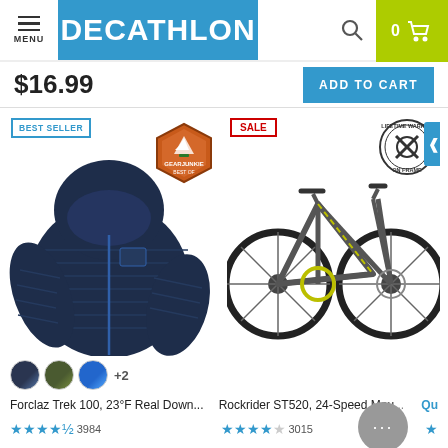DECATHLON — MENU, Search, Cart (0)
$16.99
ADD TO CART
[Figure (photo): Dark navy blue hooded down jacket (Forclaz Trek 100) with BEST SELLER badge and GearJunkie Best Of award badge]
[Figure (photo): Gray mountain bike (Rockrider ST520, 24-Speed) with SALE badge and Lifetime Warranty on Frame badge]
+2
Forclaz Trek 100, 23°F Real Down...
Rockrider ST520, 24-Speed Mou...
★★★★½  3984
★★★★☆  3015
$79.99
$299.00  $499.00